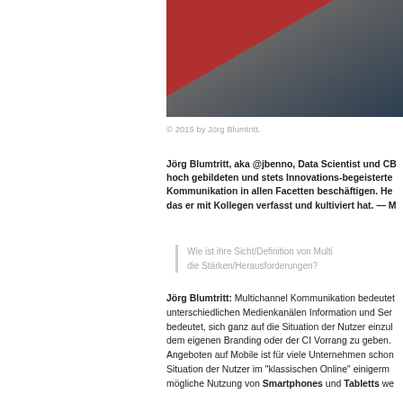[Figure (photo): Partial photo showing a person wearing red and dark navy clothing, cropped at right edge.]
© 2015 by Jörg Blumtritt.
Jörg Blumtritt, aka @jbenno, Data Scientist und CB hoch gebildeten und stets Innovations-begeisterte Kommunikation in allen Facetten beschäftigen. He das er mit Kollegen verfasst und kultiviert hat.  — M
Wie ist ihre Sicht/Definition von Multi die Stärken/Herausforderungen?
Jörg Blumtritt: Multichannel Kommunikation bedeutet unterschiedlichen Medienkanälen Information und Ser bedeutet, sich ganz auf die Situation der Nutzer einzul dem eigenen Branding oder der CI Vorrang zu geben. Angeboten auf Mobile ist für viele Unternehmen schon Situation der Nutzer im "klassischen Online" einigerm mögliche Nutzung von Smartphones und Tabletts we